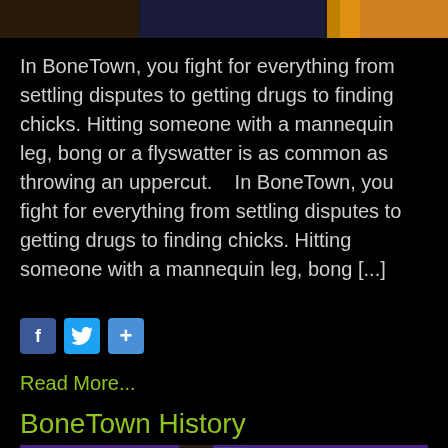[Figure (screenshot): Top partial image from a video game screenshot, cropped at top of page]
In BoneTown, you fight for everything from settling disputes to getting drugs to finding chicks. Hitting someone with a mannequin leg, bong or a flyswatter is as common as throwing an uppercut.   In BoneTown, you fight for everything from settling disputes to getting drugs to finding chicks. Hitting someone with a mannequin leg, bong [...]
[Figure (screenshot): Social share buttons: Facebook (f), Twitter (bird), and a plus/share button]
Read More...
BoneTown History
[Figure (screenshot): Bottom partial image from a video game screenshot showing a character with raised arm against purple background]